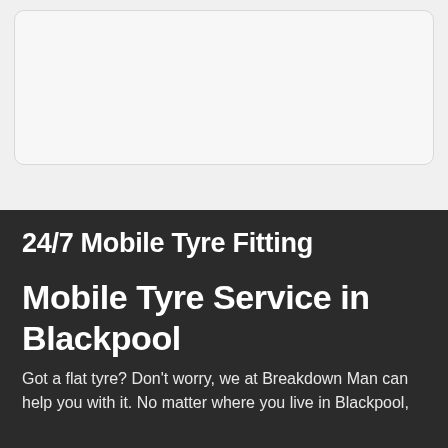[Figure (other): A rounded rectangular box with light gray background and border, appears to be a placeholder image or map area]
24/7 Mobile Tyre Fitting
Mobile Tyre Service in Blackpool
Got a flat tyre? Don't worry, we at Breakdown Man can help you with it. No matter where you live in Blackpool,